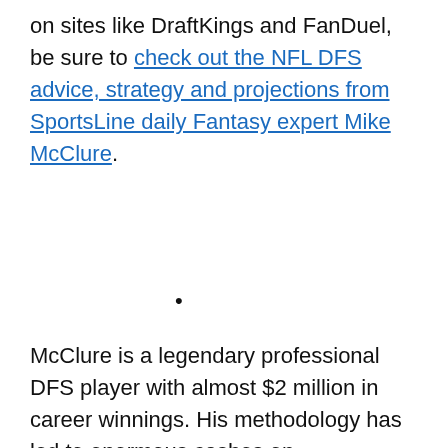on sites like DraftKings and FanDuel, be sure to check out the NFL DFS advice, strategy and projections from SportsLine daily Fantasy expert Mike McClure.
•
McClure is a legendary professional DFS player with almost $2 million in career winnings. His methodology has led to enormous cashes on